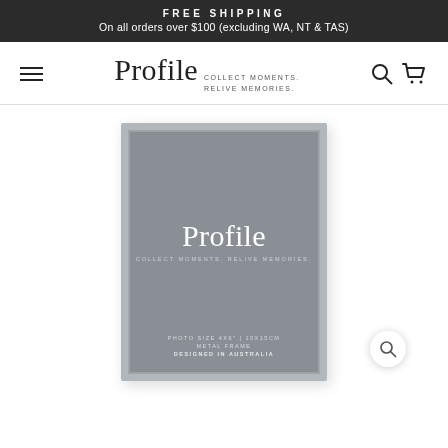FREE SHIPPING
On all orders over $100 (excluding WA, NT & TAS)
[Figure (logo): Profile brand navigation bar with hamburger menu, Profile logo with tagline 'COLLECT MOMENTS. RELIVE MEMORIES.', search icon, and cart icon]
[Figure (photo): Product photo of a silver metal photo frame (4x6 inch / 10x15cm). The frame is portrait orientation with a silver beveled border. Inside the frame packaging shows the Profile brand logo in white serif font with tagline 'COLLECT MOMENTS. RELIVE MEMORIES.' and text: PHOTO SIZE 4x6" | 10x15CM, METAL FRAME, DESIGNED IN AUSTRALIA. A magnifying glass search icon appears in a white circle at the bottom right of the image area.]